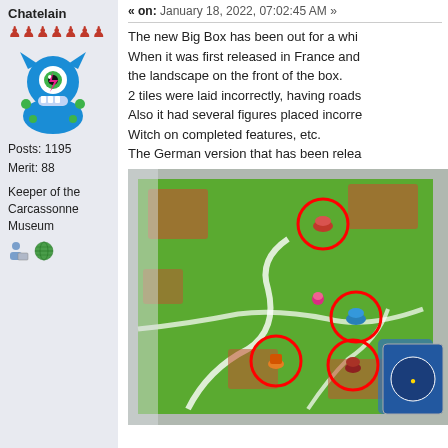Chatelain
[Figure (illustration): Blue monster meeple avatar with one green eye, teeth, and green spots]
Posts: 1195
Merit: 88
Keeper of the Carcassonne Museum
[Figure (illustration): Two small icons: a person/group icon and a globe icon]
« on: January 18, 2022, 07:02:45 AM »
The new Big Box has been out for a whi... When it was first released in France and... the landscape on the front of the box. 2 tiles were laid incorrectly, having roads... Also it had several figures placed incorre... Witch on completed features, etc. The German version that has been relea...
[Figure (photo): Photo of a Carcassonne board game landscape tile layout with red circles highlighting incorrectly placed figures including red, blue, and orange game pieces]